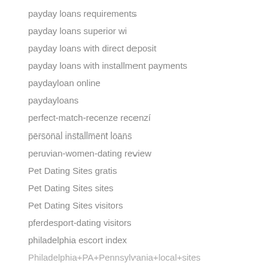payday loans requirements
payday loans superior wi
payday loans with direct deposit
payday loans with installment payments
paydayloan online
paydayloans
perfect-match-recenze recenzí
personal installment loans
peruvian-women-dating review
Pet Dating Sites gratis
Pet Dating Sites sites
Pet Dating Sites visitors
pferdesport-dating visitors
philadelphia escort index
Philadelphia+PA+Pennsylvania+local+sites